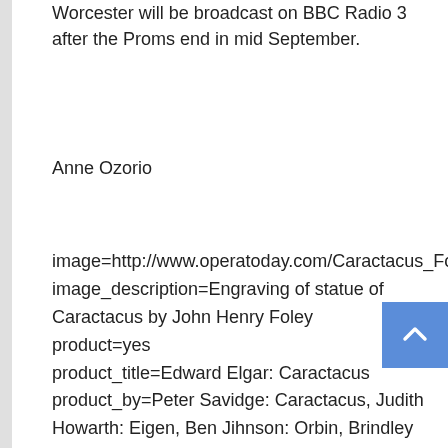Worcester will be broadcast on BBC Radio 3 after the Proms end in mid September.
Anne Ozorio
image=http://www.operatoday.com/Caractacus_Foley.gif
image_description=Engraving of statue of Caractacus by John Henry Foley
product=yes
product_title=Edward Elgar: Caractacus
product_by=Peter Savidge: Caractacus, Judith Howarth: Eigen, Ben Jihnson: Orbin, Brindley Sherratt: Claudius, Stephen Roberts: Arch Druid/Bard. The Three Choirs Festival Chorus, The Philharmonia Orchestra, Andrew Davis: conductor. Worcester Cathedral, Three Choirs Festival, 10th August 2011.
product_id=Above: Engraving of statue of Caractacus by